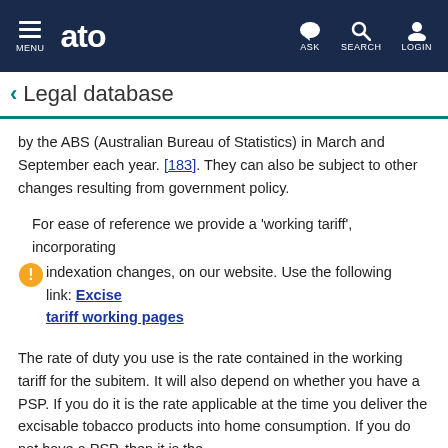MENU  ato  ASK  SEARCH  LOGIN
Legal database
by the ABS (Australian Bureau of Statistics) in March and September each year. [183]. They can also be subject to other changes resulting from government policy.
For ease of reference we provide a 'working tariff', incorporating indexation changes, on our website. Use the following link: Excise tariff working pages
The rate of duty you use is the rate contained in the working tariff for the subitem. It will also depend on whether you have a PSP. If you do it is the rate applicable at the time you deliver the excisable tobacco products into home consumption. If you do not have a PSP, then it is the rate applicable at the time you are assessed by the commissioner. [184]